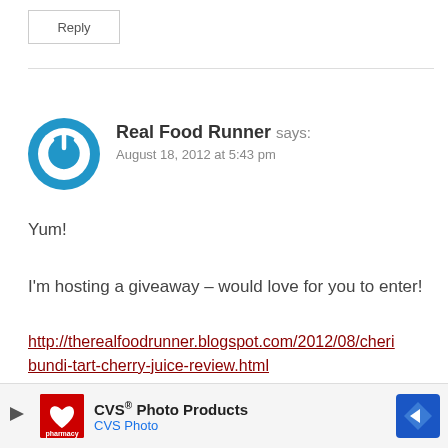Reply
Real Food Runner says:
August 18, 2012 at 5:43 pm
Yum!
I'm hosting a giveaway – would love for you to enter!
http://therealfoodrunner.blogspot.com/2012/08/cheribundi-tart-cherry-juice-review.html
Reply
[Figure (infographic): CVS Photo Products advertisement banner at the bottom of the page]
[Figure (logo): Blue circular power button icon used as commenter avatar for Real Food Runner]